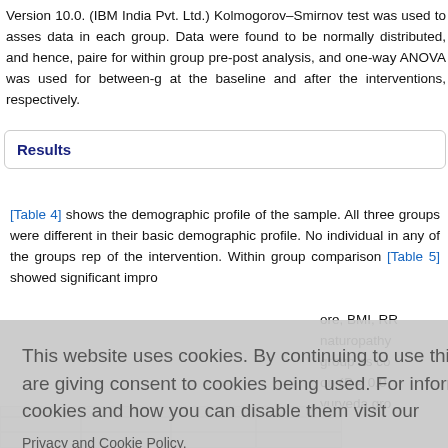Version 10.0. (IBM India Pvt. Ltd.) Kolmogorov–Smirnov test was used to assess data in each group. Data were found to be normally distributed, and hence, paired for within group pre-post analysis, and one-way ANOVA was used for between-g at the baseline and after the interventions, respectively.
Results
[Table 4] shows the demographic profile of the sample. All three groups were different in their basic demographic profile. No individual in any of the groups rep of the intervention. Within group comparison [Table 5] showed significant impro ore, BMI, RR naturopathy group as co on (P = 0.0 yurveda gro ata
This website uses cookies. By continuing to use this website you are giving consent to cookies being used. For information on cookies and how you can disable them visit our Privacy and Cookie Policy.